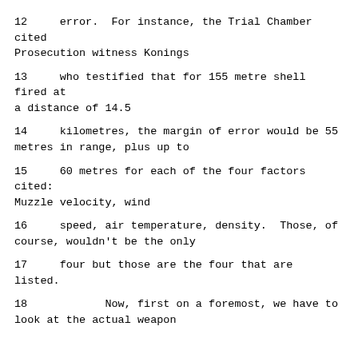12     error.  For instance, the Trial Chamber cited Prosecution witness Konings
13     who testified that for 155 metre shell fired at a distance of 14.5
14     kilometres, the margin of error would be 55 metres in range, plus up to
15     60 metres for each of the four factors cited: Muzzle velocity, wind
16     speed, air temperature, density.  Those, of course, wouldn't be the only
17     four but those are the four that are listed.
18            Now, first on a foremost, we have to look at the actual weapon